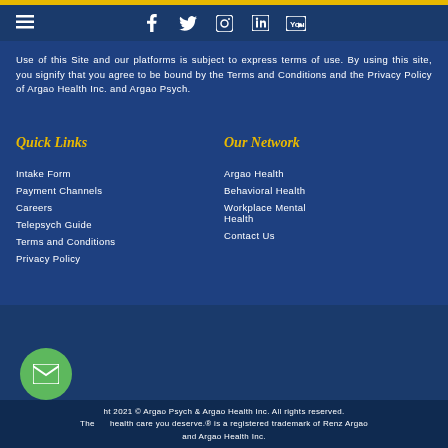Navigation bar with hamburger menu and social icons: Facebook, Twitter, Instagram, LinkedIn, YouTube
Use of this Site and our platforms is subject to express terms of use. By using this site, you signify that you agree to be bound by the Terms and Conditions and the Privacy Policy of Argao Health Inc. and Argao Psych.
Quick Links
Intake Form
Payment Channels
Careers
Telepsych Guide
Terms and Conditions
Privacy Policy
Our Network
Argao Health
Behavioral Health
Workplace Mental Health
Contact Us
Copyright 2021 © Argao Psych & Argao Health Inc. All rights reserved. The health care you deserve.® is a registered trademark of Renz Argao and Argao Health Inc.